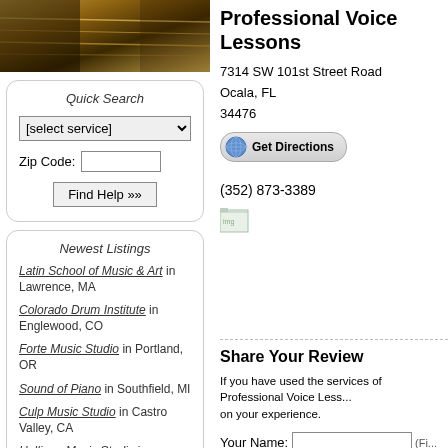[Figure (photo): Hero image of musical instrument strings, warm golden/brown tones]
Quick Search
[select service] dropdown
Zip Code: [input field]
Find Help »»
Newest Listings
Latin School of Music & Art in Lawrence, MA
Colorado Drum Institute in Englewood, CO
Forte Music Studio in Portland, OR
Sound of Piano in Southfield, MI
Culp Music Studio in Castro Valley, CA
Halligan Music Studio in Cromwell, CT
Key Signatures LLC in Richmond, VA
Orange Music Instruction in Locust
Professional Voice Lessons
7314 SW 101st Street Road
Ocala, FL
34476
Get Directions
(352) 873-3389
Share Your Review
If you have used the services of Professional Voice Less... on your experience.
Your Name: [input] (Fi...
City, State: [input] F...
My Rating: [rating icons]